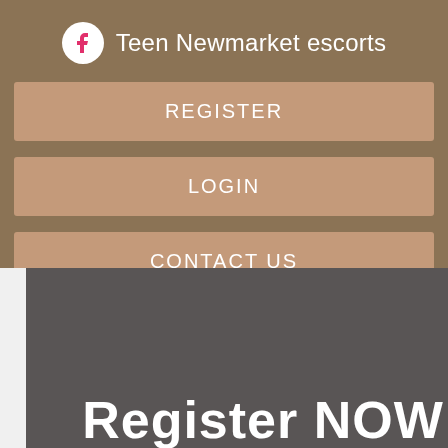Teen Newmarket escorts
REGISTER
LOGIN
CONTACT US
Register NOW